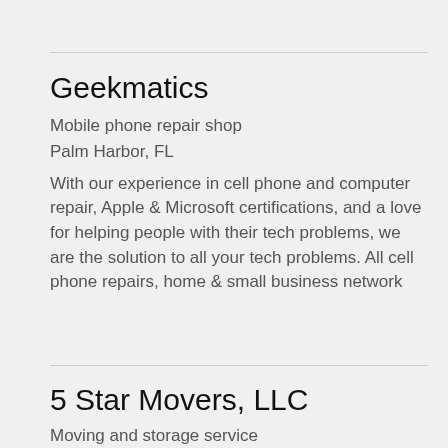Geekmatics
Mobile phone repair shop
Palm Harbor, FL
With our experience in cell phone and computer repair, Apple & Microsoft certifications, and a love for helping people with their tech problems, we are the solution to all your tech problems. All cell phone repairs, home & small business network
5 Star Movers, LLC
Moving and storage service